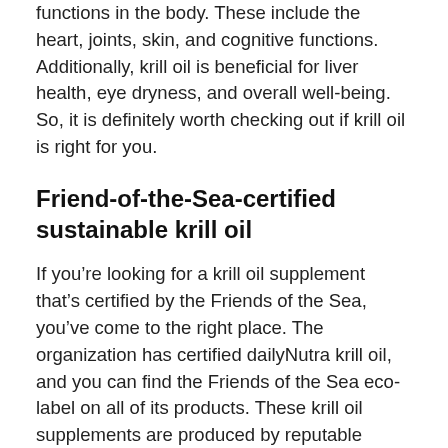functions in the body. These include the heart, joints, skin, and cognitive functions. Additionally, krill oil is beneficial for liver health, eye dryness, and overall well-being. So, it is definitely worth checking out if krill oil is right for you.
Friend-of-the-Sea-certified sustainable krill oil
If you’re looking for a krill oil supplement that’s certified by the Friends of the Sea, you’ve come to the right place. The organization has certified dailyNutra krill oil, and you can find the Friends of the Sea eco-label on all of its products. These krill oil supplements are produced by reputable companies, and are backed by human clinical science. DailyNutra’s Neptune Krill Oil is a tablet that contains pure Antarctic Krill Oil. These